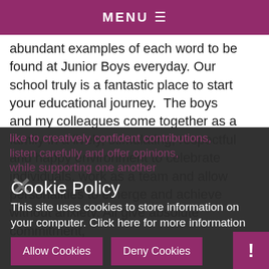MENU ≡
abundant examples of each word to be found at Junior Boys everyday. Our school truly is a fantastic place to start your educational journey.  The boys and my colleagues come together as a family in a lively, stimulating, respectful and happy environment to celebrate individuals, work as a team and allow personalities to emerge and achieve without anxiety. All give absolute commitment, like to creatively confident contributions, listen carefully and offer opinions, while supporting one another
Cookie Policy
This site uses cookies to store information on your computer. Click here for more information
Allow Cookies
Deny Cookies